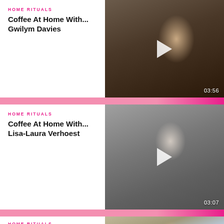[Figure (screenshot): Video thumbnail: man in dark sweater holding coffee mug in kitchen, with play button overlay and duration 03:56]
HOME RITUALS
Coffee At Home With... Gwilym Davies
[Figure (screenshot): Video thumbnail: woman in black turtleneck standing against brick wall, black and white photo, with play button overlay and duration 03:07]
HOME RITUALS
Coffee At Home With... Lisa-Laura Verhoest
[Figure (screenshot): Video thumbnail: man with reddish hair, partially visible, indoor setting]
HOME RITUALS
Coffee At Home With